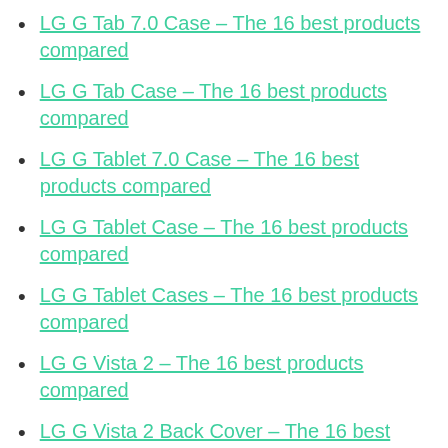LG G Tab 7.0 Case – The 16 best products compared
LG G Tab Case – The 16 best products compared
LG G Tablet 7.0 Case – The 16 best products compared
LG G Tablet Case – The 16 best products compared
LG G Tablet Cases – The 16 best products compared
LG G Vista 2 – The 16 best products compared
LG G Vista 2 Back Cover – The 16 best